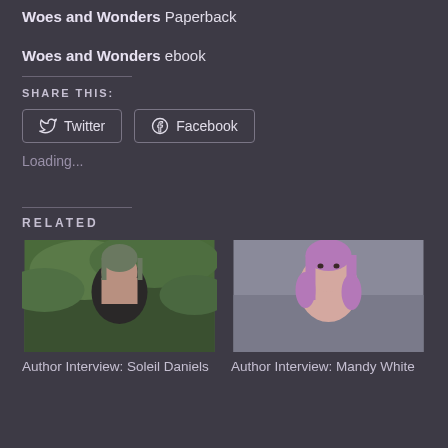Woes and Wonders Paperback
Woes and Wonders ebook
SHARE THIS:
Twitter
Facebook
Loading...
RELATED
[Figure (photo): Headshot of a person with short hair against a green leafy background]
Author Interview: Soleil Daniels
[Figure (photo): Headshot of a person with long purple hair against a light background]
Author Interview: Mandy White